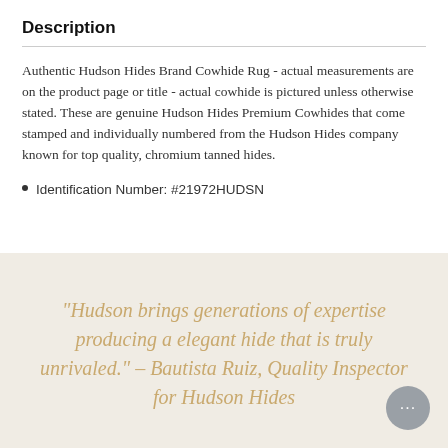Description
Authentic Hudson Hides Brand Cowhide Rug - actual measurements are on the product page or title - actual cowhide is pictured unless otherwise stated. These are genuine Hudson Hides Premium Cowhides that come stamped and individually numbered from the Hudson Hides company known for top quality, chromium tanned hides.
Identification Number: #21972HUDSN
"Hudson brings generations of expertise producing a elegant hide that is truly unrivaled." – Bautista Ruiz, Quality Inspector for Hudson Hides